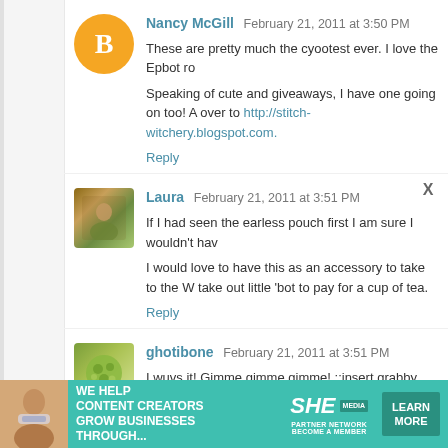Nancy McGill  February 21, 2011 at 3:50 PM
These are pretty much the cyootest ever. I love the Epbot ro
Speaking of cute and giveaways, I have one going on too! A over to http://stitch-witchery.blogspot.com.
Reply
[Figure (illustration): Orange circle avatar with white blogger 'B' icon]
Laura  February 21, 2011 at 3:51 PM
If I had seen the earless pouch first I am sure I wouldn't hav
I would love to have this as an accessory to take to the W take out little 'bot to pay for a cup of tea.
Reply
[Figure (photo): Photo avatar thumbnail for Laura - outdoor scene with person]
ghotibone  February 21, 2011 at 3:51 PM
I wuvs it! Gimme gimme gimme! ::insert grabby hands here
Reply
[Figure (photo): Photo avatar thumbnail for ghotibone - green leafy texture]
[Figure (infographic): SHE Media Partner Network advertisement banner - teal background with woman holding tablet, text: WE HELP CONTENT CREATORS GROW BUSINESSES THROUGH..., SHE PARTNER NETWORK BECOME A MEMBER, LEARN MORE button]